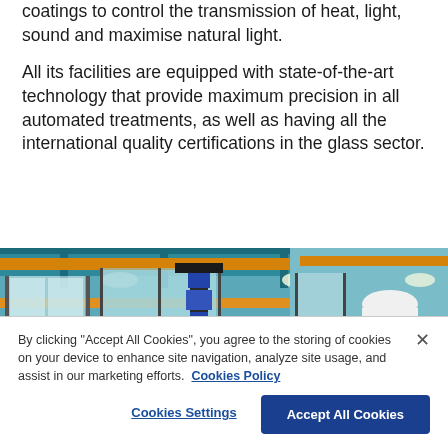coatings to control the transmission of heat, light, sound and maximise natural light.
All its facilities are equipped with state-of-the-art technology that provide maximum precision in all automated treatments, as well as having all the international quality certifications in the glass sector.
[Figure (photo): Industrial glass factory interior showing large glass panels being handled by machinery, with a worker wearing a white hard hat and safety glasses visible in the foreground right.]
By clicking "Accept All Cookies", you agree to the storing of cookies on your device to enhance site navigation, analyze site usage, and assist in our marketing efforts. Cookies Policy
Cookies Settings
Accept All Cookies